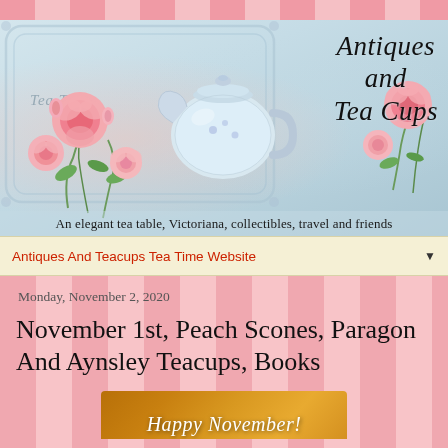[Figure (illustration): Blog header banner for 'Antiques and Tea Cups' blog featuring a decorative Victorian-style illustration with roses, a blue teapot, ornamental scroll borders, and the text 'Antiques and Tea Cups' in italic script, with tagline 'An elegant tea table, Victoriana, collectibles, travel and friends']
Antiques And Teacups Tea Time Website
Monday, November 2, 2020
November 1st, Peach Scones, Paragon And Aynsley Teacups, Books
[Figure (photo): Partial image at bottom showing a golden/amber background with italic white script text beginning 'Happy November...']